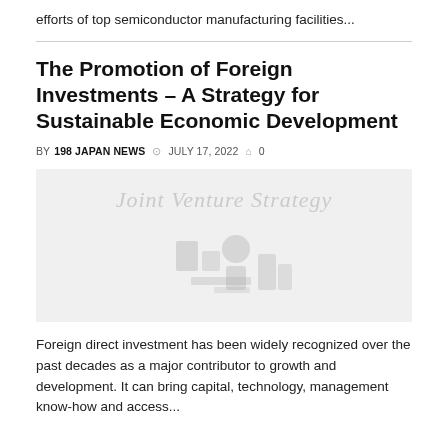efforts of top semiconductor manufacturing facilities...
The Promotion of Foreign Investments – A Strategy for Sustainable Economic Development
BY 198 JAPAN NEWS  © JULY 17, 2022  ⌂ 0
[Figure (illustration): Light gray placeholder image with watermark text 'Joint Venture Strategy' and faint logo icons in the center-lower area]
Foreign direct investment has been widely recognized over the past decades as a major contributor to growth and development. It can bring capital, technology, management know-how and access...